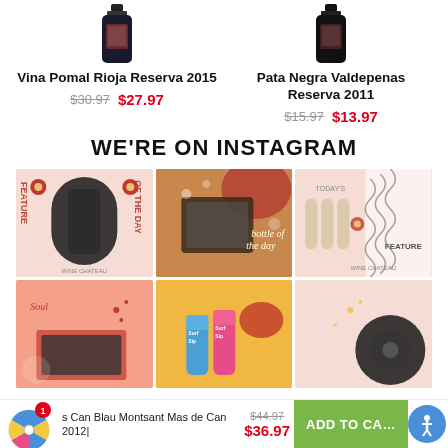Vina Pomal Rioja Reserva 2015
$30.97  $27.97
Pata Negra Valdepenas Reserva 2011
$15.97  $13.97
WE'RE ON INSTAGRAM
[Figure (photo): Instagram grid showing 6 wine-related social media posts]
s Can Blau Montsant Mas de Can 2012|  $44.97  $36.97  ADD TO CA...